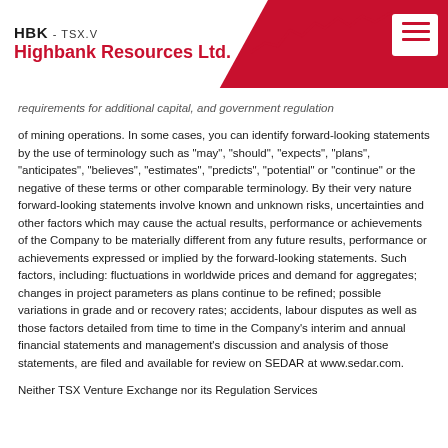HBK - TSX.V Highbank Resources Ltd.
requirements for additional capital, and government regulation of mining operations. In some cases, you can identify forward-looking statements by the use of terminology such as “may”, “should”, “expects”, “plans”, “anticipates”, “believes”, “estimates”, “predicts”, “potential” or “continue” or the negative of these terms or other comparable terminology. By their very nature forward-looking statements involve known and unknown risks, uncertainties and other factors which may cause the actual results, performance or achievements of the Company to be materially different from any future results, performance or achievements expressed or implied by the forward-looking statements. Such factors, including: fluctuations in worldwide prices and demand for aggregates; changes in project parameters as plans continue to be refined; possible variations in grade and or recovery rates; accidents, labour disputes as well as those factors detailed from time to time in the Company’s interim and annual financial statements and management’s discussion and analysis of those statements, are filed and available for review on SEDAR at www.sedar.com.
Neither TSX Venture Exchange nor its Regulation Services